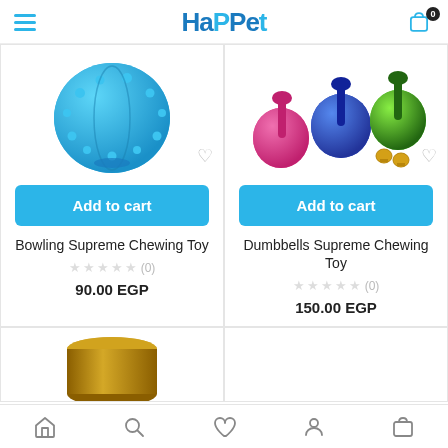HaPPet - hamburger menu, cart icon with badge 0
[Figure (photo): Blue spiky rubber bowling ball chewing toy]
[Figure (photo): Pink, blue, and green dumbbell rubber chewing toys with small gold bells]
Add to cart
Add to cart
Bowling Supreme Chewing Toy
Dumbbells Supreme Chewing Toy
★★★★★ (0)
★★★★★ (0)
90.00 EGP
150.00 EGP
[Figure (photo): Gold/bronze pet food tin/can product]
[Figure (photo): Second product in bottom row (empty/cropped)]
Home | Search | Wishlist | Account | Cart